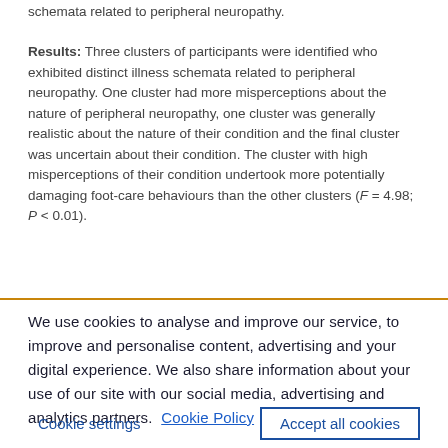schemata related to peripheral neuropathy.
Results: Three clusters of participants were identified who exhibited distinct illness schemata related to peripheral neuropathy. One cluster had more misperceptions about the nature of peripheral neuropathy, one cluster was generally realistic about the nature of their condition and the final cluster was uncertain about their condition. The cluster with high misperceptions of their condition undertook more potentially damaging foot-care behaviours than the other clusters (F = 4.98; P < 0.01).
We use cookies to analyse and improve our service, to improve and personalise content, advertising and your digital experience. We also share information about your use of our site with our social media, advertising and analytics partners. Cookie Policy
Cookie settings
Accept all cookies